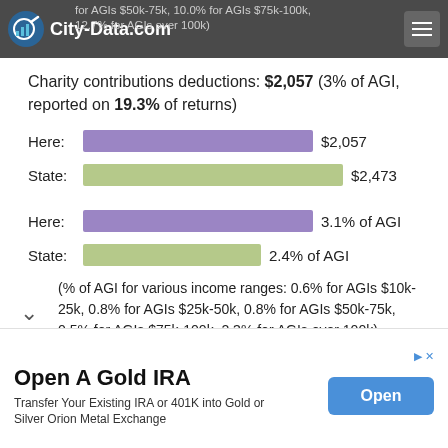City-Data.com
for AGIs $50k-75k, 10.0% for AGIs $75k-100k, 12.7% for AGIs over 100k)
Charity contributions deductions: $2,057 (3% of AGI, reported on 19.3% of returns)
[Figure (bar-chart): Charity contributions deductions - dollar amounts]
[Figure (bar-chart): Charity contributions as % of AGI]
(% of AGI for various income ranges: 0.6% for AGIs $10k-25k, 0.8% for AGIs $25k-50k, 0.8% for AGIs $50k-75k, 0.5% for AGIs $75k-100k, 2.3% for AGIs over 100k)
[Figure (advertisement): Open A Gold IRA advertisement - Transfer Your Existing IRA or 401K into Gold or Silver Orion Metal Exchange]